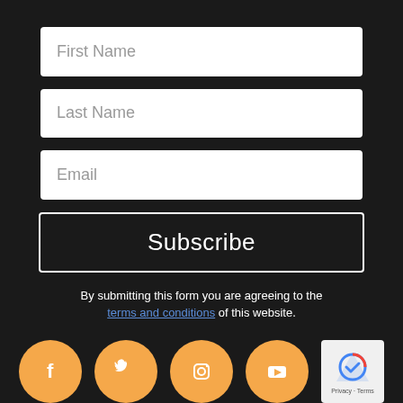[Figure (screenshot): Form field placeholder: First Name]
[Figure (screenshot): Form field placeholder: Last Name]
[Figure (screenshot): Form field placeholder: Email]
[Figure (screenshot): Subscribe button]
By submitting this form you are agreeing to the terms and conditions of this website.
[Figure (infographic): Social media icons: Facebook, Twitter, Instagram, YouTube in orange circles, and a reCAPTCHA badge]